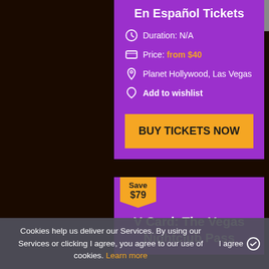En Español Tickets
Duration: N/A
Price: from $40
Planet Hollywood, Las Vegas
Add to wishlist
BUY TICKETS NOW
Save $79
V Card: The Vegas Nightclub Pass
Cookies help us deliver our Services. By using our Services or clicking I agree, you agree to our use of cookies. Learn more
I agree